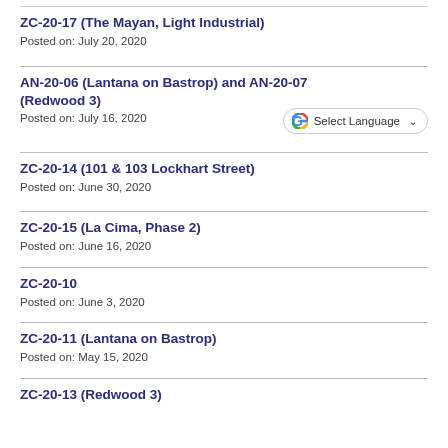ZC-20-17 (The Mayan, Light Industrial)
Posted on: July 20, 2020
AN-20-06 (Lantana on Bastrop) and AN-20-07 (Redwood 3)
Posted on: July 16, 2020
ZC-20-14 (101 & 103 Lockhart Street)
Posted on: June 30, 2020
ZC-20-15 (La Cima, Phase 2)
Posted on: June 16, 2020
ZC-20-10
Posted on: June 3, 2020
ZC-20-11 (Lantana on Bastrop)
Posted on: May 15, 2020
ZC-20-13 (Redwood 3)